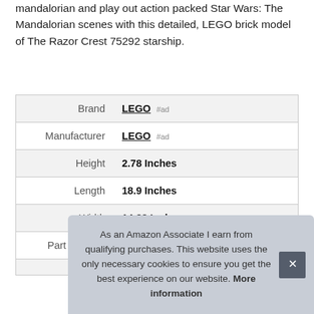mandalorian and play out action packed Star Wars: The Mandalorian scenes with this detailed, LEGO brick model of The Razor Crest 75292 starship.
|  |  |
| --- | --- |
| Brand | LEGO #ad |
| Manufacturer | LEGO #ad |
| Height | 2.78 Inches |
| Length | 18.9 Inches |
| Width | 14.88 Inches |
| Part Number | 75292 |
As an Amazon Associate I earn from qualifying purchases. This website uses the only necessary cookies to ensure you get the best experience on our website. More information